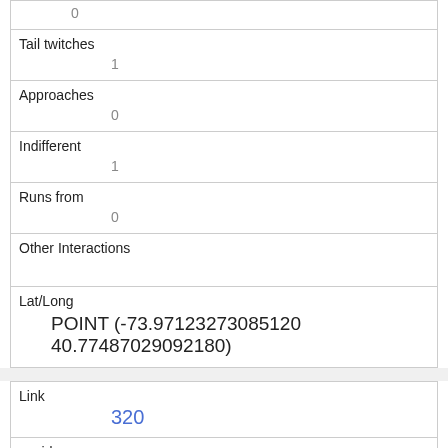| Tail twitches | 1 |
| Approaches | 0 |
| Indifferent | 1 |
| Runs from | 0 |
| Other Interactions |  |
| Lat/Long | POINT (-73.97123273085120 40.77487029092180) |
| Link | 320 |
| rowid | 320 |
| longitude | -73.96843760385820 |
| latitude |  |